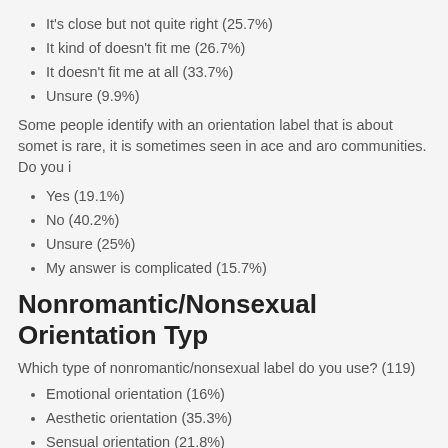It's close but not quite right (25.7%)
It kind of doesn't fit me (26.7%)
It doesn't fit me at all (33.7%)
Unsure (9.9%)
Some people identify with an orientation label that is about somet is rare, it is sometimes seen in ace and aro communities. Do you i
Yes (19.1%)
No (40.2%)
Unsure (25%)
My answer is complicated (15.7%)
Nonromantic/Nonsexual Orientation Typ
Which type of nonromantic/nonsexual label do you use? (119)
Emotional orientation (16%)
Aesthetic orientation (35.3%)
Sensual orientation (21.8%)
It's not a specific type (31.9%)
It's a specific type not listed here (26.1%)
Unsure (28.6%)